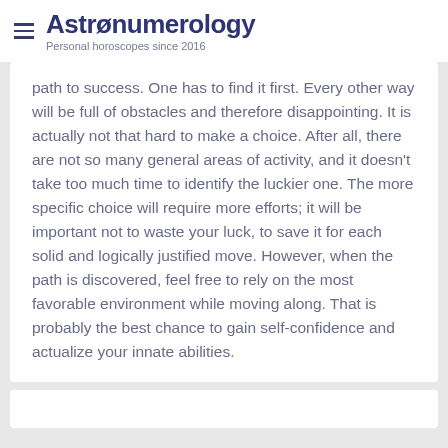Astronumerology — Personal horoscopes since 2016
path to success. One has to find it first. Every other way will be full of obstacles and therefore disappointing. It is actually not that hard to make a choice. After all, there are not so many general areas of activity, and it doesn't take too much time to identify the luckier one. The more specific choice will require more efforts; it will be important not to waste your luck, to save it for each solid and logically justified move. However, when the path is discovered, feel free to rely on the most favorable environment while moving along. That is probably the best chance to gain self-confidence and actualize your innate abilities.